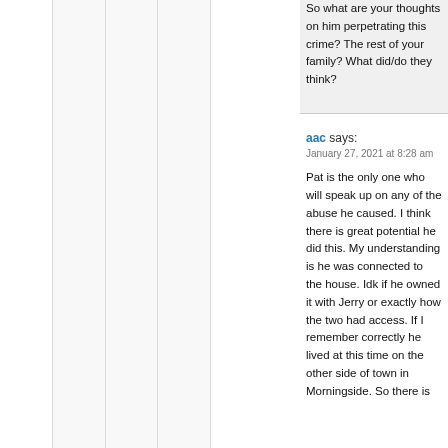So what are your thoughts on him perpetrating this crime? The rest of your family? What did/do they think?
aac says: January 27, 2021 at 8:28 am
Pat is the only one who will speak up on any of the abuse he caused. I think there is great potential he did this. My understanding is he was connected to the house. Idk if he owned it with Jerry or exactly how the two had access. If I remember correctly he lived at this time on the other side of town in Morningside. So there is